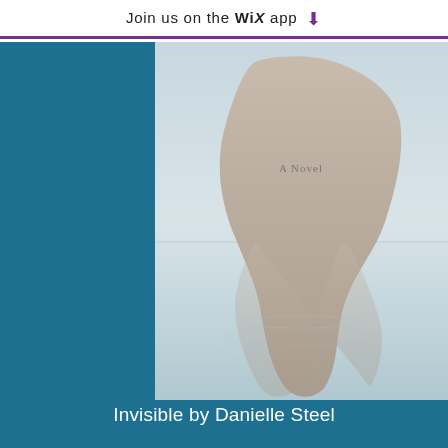Join us on the WiX app
[Figure (photo): Book cover of 'Invisible by Danielle Steel' — A Novel text visible, featuring a muted photo of a figure/landscape reflected in water]
Invisible by Danielle Steel
Invisible by Danielle Steel
In this riveting novel from #1 New York Times bestselling author Danielle Steel, a gifted young woman must grapple with the legacy of a troubled childhood in order to pursue her dreams. Adult